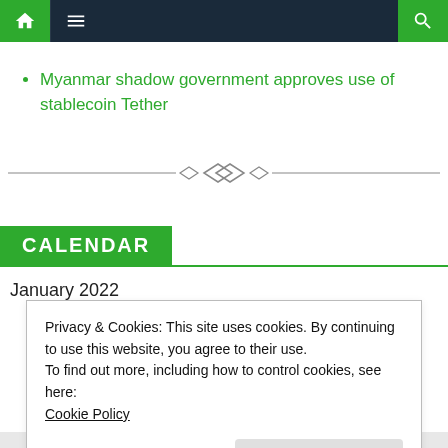Navigation bar with home, menu, and search icons
Myanmar shadow government approves use of stablecoin Tether
[Figure (illustration): Decorative diamond ornament divider line]
CALENDAR
January 2022
Privacy & Cookies: This site uses cookies. By continuing to use this website, you agree to their use.
To find out more, including how to control cookies, see here:
Cookie Policy
Close and accept